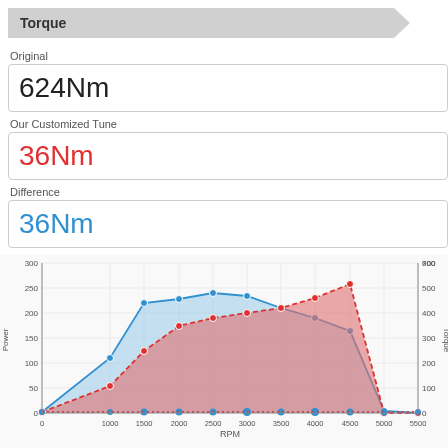Torque
Original
624Nm
Our Customized Tune
36Nm
Difference
36Nm
[Figure (line-chart): Dual-axis line chart with shaded areas showing original (blue) and customized tune (red) power and torque curves across RPM range 0-5500. Left y-axis: Power 0-300, Right y-axis: Torque 0-700. X-axis: 0, 1000, 1500, 2000, 2500, 3000, 3500, 4000, 4500, 5000, 5500.]